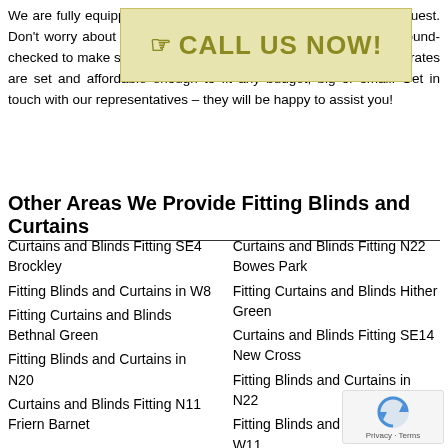We are fully equipped to provide some materials at customers' request. Don't worry about security – each member of our team is background-checked to make sure they are reliable enough to service you. Our rates are set and affordable enough to fit any budget, big or small. Get in touch with our representatives – they will be happy to assist you!
[Figure (other): Call us now banner with hand pointer icon and bold text]
Other Areas We Provide Fitting Blinds and Curtains
Curtains and Blinds Fitting SE4 Brockley
Curtains and Blinds Fitting N22 Bowes Park
Fitting Blinds and Curtains in W8
Fitting Curtains and Blinds Hither Green
Fitting Curtains and Blinds Bethnal Green
Curtains and Blinds Fitting SE14 New Cross
Fitting Blinds and Curtains in N20
Fitting Blinds and Curtains in N22
Curtains and Blinds Fitting N11 Friern Barnet
Fitting Blinds and Curtains in W11